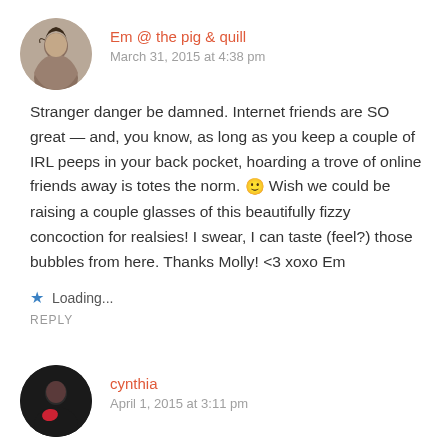Em @ the pig & quill
March 31, 2015 at 4:38 pm
Stranger danger be damned. Internet friends are SO great — and, you know, as long as you keep a couple of IRL peeps in your back pocket, hoarding a trove of online friends away is totes the norm. 🙂 Wish we could be raising a couple glasses of this beautifully fizzy concoction for realsies! I swear, I can taste (feel?) those bubbles from here. Thanks Molly! <3 xoxo Em
Loading...
REPLY
cynthia
April 1, 2015 at 3:11 pm